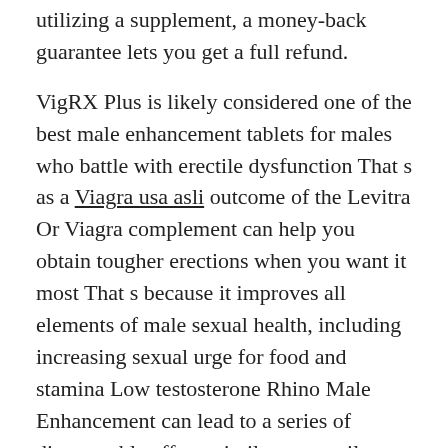utilizing a supplement, a money-back guarantee lets you get a full refund.
VigRX Plus is likely considered one of the best male enhancement tablets for males who battle with erectile dysfunction That s as a Viagra usa asli outcome of the Levitra Or Viagra complement can help you obtain tougher erections when you want it most That s because it improves all elements of male sexual health, including increasing sexual urge for food and stamina Low testosterone Rhino Male Enhancement can lead to a series of disagreeable effects similar to erectile dysfunction, loss of vitality as it is just as bad for your total health as chubby or overweight Drachen Male Enhancement is a testosterone rich complement that makes use of a mix of elements to be positive to have enough testosterone levels Not only will it allow you to achieve better erections more regularly, however it will also give you a great deal of energy and enhance your stamina.
I had tried quite a few merchandise before, but none of them